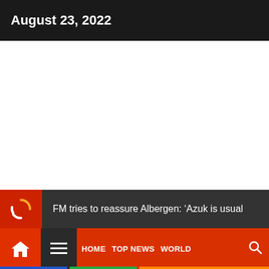August 23, 2022
[Figure (other): White empty content area]
FM tries to reassure Albergen: ‘Azuk is usual
HOME  TOP NEWS  WORLD